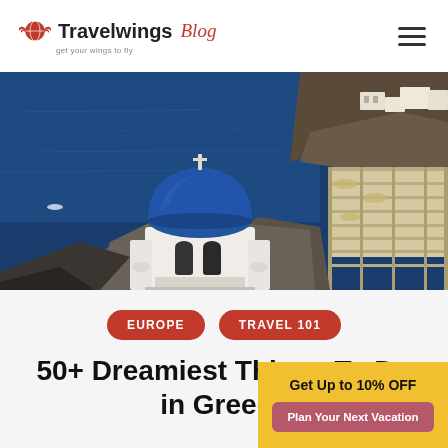Travelwings Blog — get your wings to fly
[Figure (photo): Aerial view of Santorini, Greece, showing the iconic blue-domed white church on the cliffside overlooking the deep blue Aegean Sea, with traditional white buildings and a terrace structure to the right.]
EUROPE
TRAVEL 101
50+ Dreamiest Things To Do in Greece
Get Up to 10% OFF
Plan Your Next Vacation